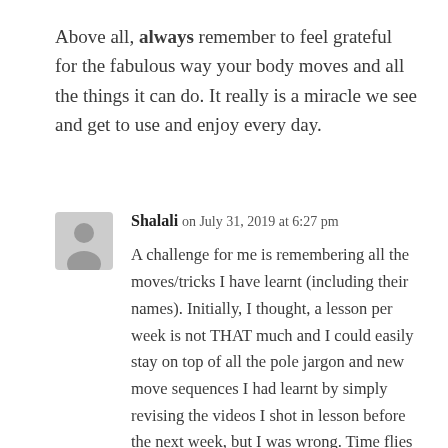Above all, always remember to feel grateful for the fabulous way your body moves and all the things it can do. It really is a miracle we see and get to use and enjoy every day.
Shalali on July 31, 2019 at 6:27 pm
A challenge for me is remembering all the moves/tricks I have learnt (including their names). Initially, I thought, a lesson per week is not THAT much and I could easily stay on top of all the pole jargon and new move sequences I had learnt by simply revising the videos I shot in lesson before the next week, but I was wrong. Time flies and because of daily